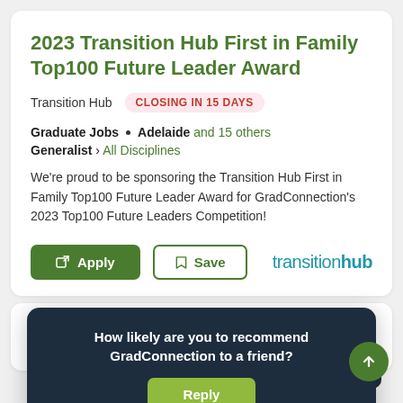2023 Transition Hub First in Family Top100 Future Leader Award
Transition Hub  CLOSING IN 15 DAYS
Graduate Jobs • Adelaide and 15 others
Generalist › All Disciplines
We're proud to be sponsoring the Transition Hub First in Family Top100 Future Leader Award for GradConnection's 2023 Top100 Future Leaders Competition!
[Figure (screenshot): Apply and Save buttons with transitionhub logo]
How likely are you to recommend GradConnection to a friend?
Reply
202… Con…